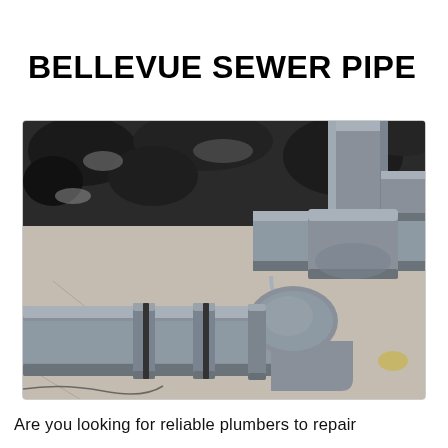BELLEVUE SEWER PIPE
[Figure (photo): Gray PVC sewer pipes with couplings and joints mounted against a rough stone/concrete wall. The pipes form a T-junction and elbow configuration, photographed from below looking up.]
Are you looking for reliable plumbers to repair